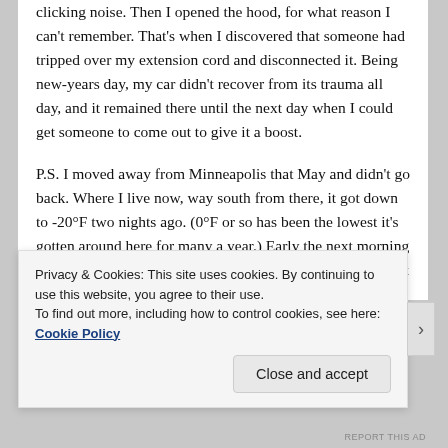clicking noise. Then I opened the hood, for what reason I can't remember. That's when I discovered that someone had tripped over my extension cord and disconnected it. Being new-years day, my car didn't recover from its trauma all day, and it remained there until the next day when I could get someone to come out to give it a boost.
P.S. I moved away from Minneapolis that May and didn't go back. Where I live now, way south from there, it got down to -20°F two nights ago. (0°F or so has been the lowest it's gotten around here for many a year.) Early the next morning I tried to start my old John Deere tractor to clear off the foot of snow from my driveway...
Privacy & Cookies: This site uses cookies. By continuing to use this website, you agree to their use.
To find out more, including how to control cookies, see here: Cookie Policy